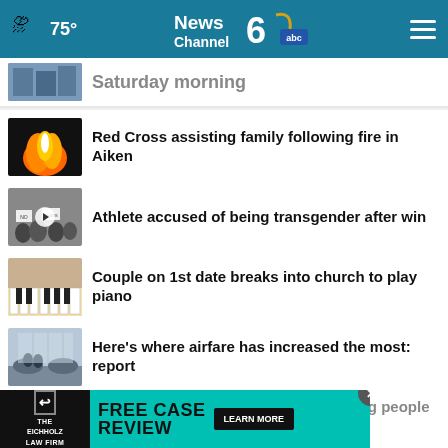News Channel 6 abc | WJBF.COM | 75°
Saturday morning
Red Cross assisting family following fire in Aiken
Athlete accused of being transgender after win
Couple on 1st date breaks into church to play piano
Here's where airfare has increased the most: report
Monkeypox disproportionately affecting people of
[Figure (screenshot): Advertisement banner: The Eichholz Law Firm - Free Case Review - Learn More]